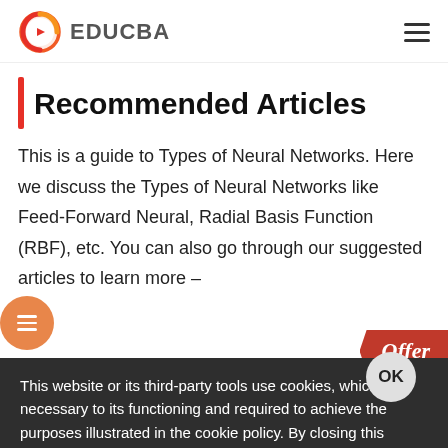EDUCBA
Recommended Articles
This is a guide to Types of Neural Networks. Here we discuss the Types of Neural Networks like Feed-Forward Neural, Radial Basis Function (RBF), etc. You can also go through our suggested articles to learn more –
This website or its third-party tools use cookies, which are necessary to its functioning and required to achieve the purposes illustrated in the cookie policy. By closing this banner, scrolling this page, clicking a link or continuing to browse otherwise, you agree to our Privacy Policy
Machine Learning Training (20 Courses, 29+ Projects)